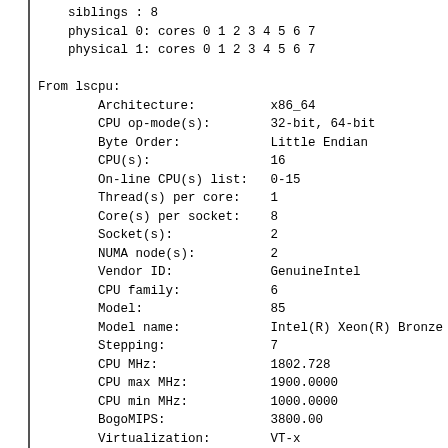siblings : 8
    physical 0: cores 0 1 2 3 4 5 6 7
    physical 1: cores 0 1 2 3 4 5 6 7

From lscpu:
        Architecture:          x86_64
        CPU op-mode(s):        32-bit, 64-bit
        Byte Order:            Little Endian
        CPU(s):                16
        On-line CPU(s) list:   0-15
        Thread(s) per core:    1
        Core(s) per socket:    8
        Socket(s):             2
        NUMA node(s):          2
        Vendor ID:             GenuineIntel
        CPU family:            6
        Model:                 85
        Model name:            Intel(R) Xeon(R) Bronze 3206R
        Stepping:              7
        CPU MHz:               1802.728
        CPU max MHz:           1900.0000
        CPU min MHz:           1000.0000
        BogoMIPS:              3800.00
        Virtualization:        VT-x
        L1d cache:             32K
        L1i cache:             32K
        L2 cache:              1024K
        L3 cache:              11264K
        NUMA node0 CPU(s):     0,2,4,6,8,10,12,14
        NUMA node1 CPU(s):     1,3,5,7,9,11,13,15
        Flags:                 ...